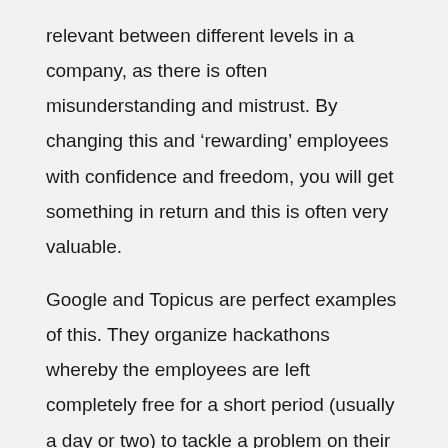relevant between different levels in a company, as there is often misunderstanding and mistrust. By changing this and ‘rewarding’ employees with confidence and freedom, you will get something in return and this is often very valuable.

Google and Topicus are perfect examples of this. They organize hackathons whereby the employees are left completely free for a short period (usually a day or two) to tackle a problem on their own or in teams. This is the